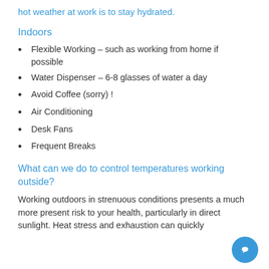hot weather at work is to stay hydrated.
Indoors
Flexible Working – such as working from home if possible
Water Dispenser – 6-8 glasses of water a day
Avoid Coffee (sorry) !
Air Conditioning
Desk Fans
Frequent Breaks
What can we do to control temperatures working outside?
Working outdoors in strenuous conditions presents a much more present risk to your health, particularly in direct sunlight. Heat stress and exhaustion can quickly